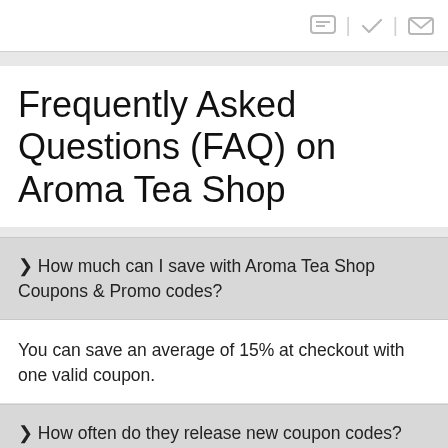Frequently Asked Questions (FAQ) on Aroma Tea Shop
❯ How much can I save with Aroma Tea Shop Coupons & Promo codes?
You can save an average of 15% at checkout with one valid coupon.
❯ How often do they release new coupon codes?
New coupons will be released throughout the month. You can especially find great coupons on big holidays like Black Friday, Halloween, Cyber Monday, and more.